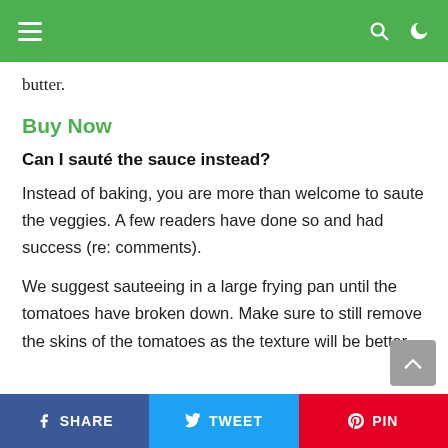butter.
Buy Now
Can I sauté the sauce instead?
Instead of baking, you are more than welcome to saute the veggies. A few readers have done so and had success (re: comments).
We suggest sauteeing in a large frying pan until the tomatoes have broken down. Make sure to still remove the skins of the tomatoes as the texture will be better.
SHARE  TWEET  PIN